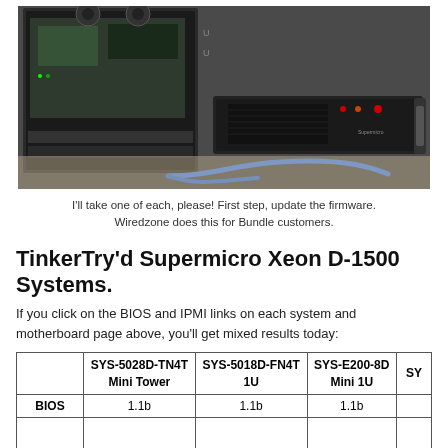[Figure (photo): Photo of Supermicro Xeon D-1500 systems: a mini tower with open side panel showing internals on the left, and a 1U rack-mount server on the right, with a blue Ethernet cable connecting them.]
I'll take one of each, please! First step, update the firmware. Wiredzone does this for Bundle customers.
TinkerTry'd Supermicro Xeon D-1500 Systems.
If you click on the BIOS and IPMI links on each system and motherboard page above, you'll get mixed results today:
|  | SYS-5028D-TN4T Mini Tower | SYS-5018D-FN4T 1U | SYS-E200-8D Mini 1U | SY... |
| --- | --- | --- | --- | --- |
| BIOS | 1.1b | 1.1b | 1.1b |  |
|  |  |  |  |  |